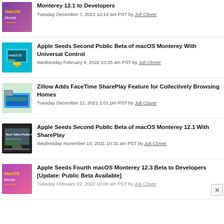Monterey 12.1 to Developers — Tuesday December 7, 2021 10:19 am PST by Juli Clover
Apple Seeds Second Public Beta of macOS Monterey With Universal Control — Wednesday February 9, 2022 10:25 am PST by Juli Clover
Zillow Adds FaceTime SharePlay Feature for Collectively Browsing Homes — Tuesday December 21, 2021 2:01 pm PST by Juli Clover
Apple Seeds Second Public Beta of macOS Monterey 12.1 With SharePlay — Wednesday November 10, 2021 10:31 am PST by Juli Clover
Apple Seeds Fourth macOS Monterey 12.3 Beta to Developers [Update: Public Beta Available] — Tuesday February 22, 2022 10:08 am PST by Juli Clover